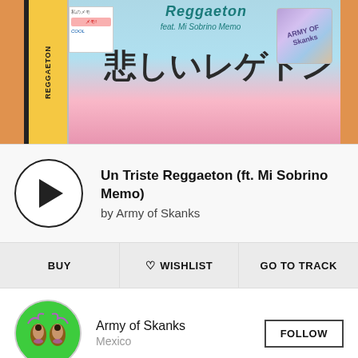[Figure (photo): Album art for 'Un Triste Reggaeton' by Army of Skanks — a cassette box with Japanese aesthetic, teal/pink gradient background, Japanese characters 悲しいレゲトン, holographic sticker, yellow side strip labeled REGGAETON]
Un Triste Reggaeton (ft. Mi Sobrino Memo)
by Army of Skanks
BUY
♡ WISHLIST
GO TO TRACK
[Figure (photo): Circular avatar of Army of Skanks artist on green background with decorative elements]
Army of Skanks
Mexico
FOLLOW
Otaku fan culture has a long-running history in